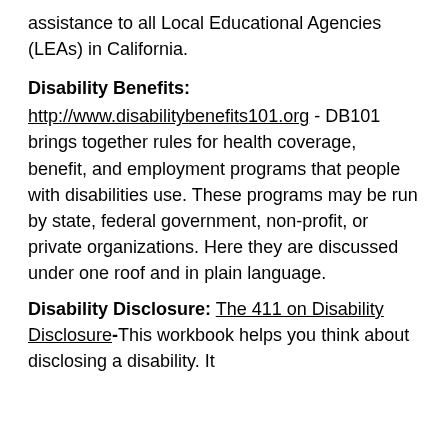assistance to all Local Educational Agencies (LEAs) in California.
Disability Benefits:
http://www.disabilitybenefits101.org - DB101 brings together rules for health coverage, benefit, and employment programs that people with disabilities use. These programs may be run by state, federal government, non-profit, or private organizations. Here they are discussed under one roof and in plain language.
Disability Disclosure: The 411 on Disability Disclosure- This workbook helps you think about disclosing a disability. It